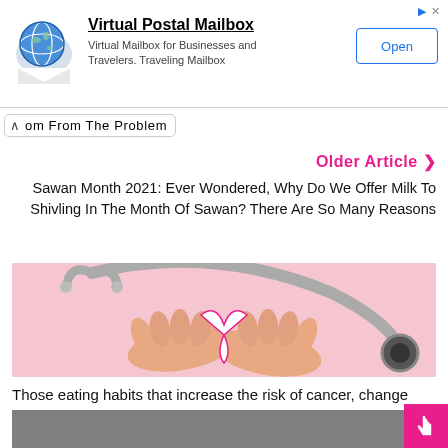[Figure (other): Advertisement banner for Virtual Postal Mailbox with globe-and-envelope logo, text description, and Open button]
om From The Problem
Older Article ❯
Sawan Month 2021: Ever Wondered, Why Do We Offer Milk To Shivling In The Month Of Sawan? There Are So Many Reasons
[Figure (photo): Hands holding a pink ribbon with a stethoscope on a pink background — cancer awareness image]
Those eating habits that increase the risk of cancer, change them from today itself
[Figure (photo): Partial bottom image strip, gray/dark background]